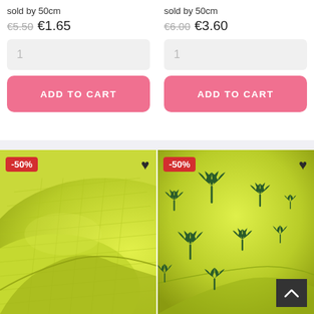sold by 50cm
€5.50 €1.65
1
ADD TO CART
sold by 50cm
€6.00 €3.60
1
ADD TO CART
[Figure (photo): Yellow-green quilted fabric roll with -50% badge and heart icon]
[Figure (photo): Yellow-green fabric with palm tree pattern, -50% badge and heart icon, scroll-up button in bottom right]